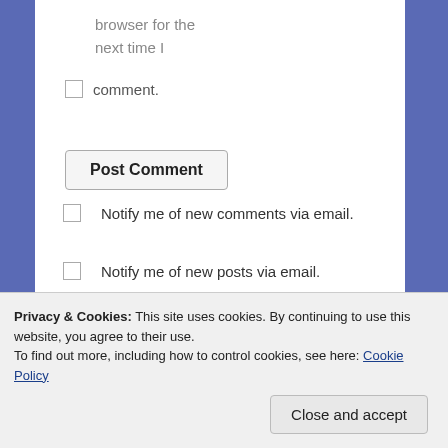browser for the next time I
comment.
Post Comment
Notify me of new comments via email.
Notify me of new posts via email.
Privacy & Cookies: This site uses cookies. By continuing to use this website, you agree to their use. To find out more, including how to control cookies, see here: Cookie Policy
Close and accept